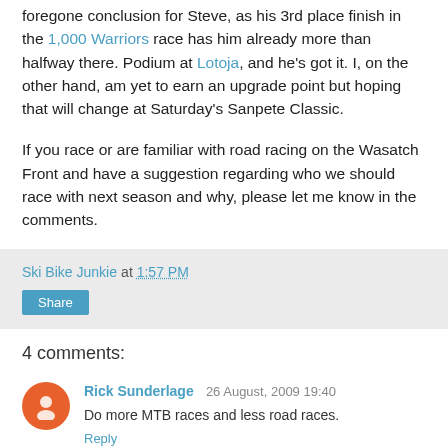foregone conclusion for Steve, as his 3rd place finish in the 1,000 Warriors race has him already more than halfway there. Podium at Lotoja, and he's got it. I, on the other hand, am yet to earn an upgrade point but hoping that will change at Saturday's Sanpete Classic.
If you race or are familiar with road racing on the Wasatch Front and have a suggestion regarding who we should race with next season and why, please let me know in the comments.
Ski Bike Junkie at 1:57 PM
Share
4 comments:
Rick Sunderlage 26 August, 2009 19:40
Do more MTB races and less road races.
Reply